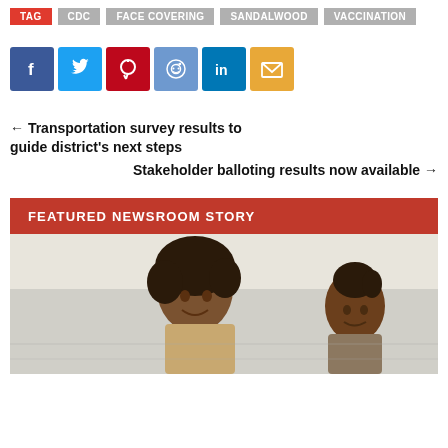TAG | CDC | FACE COVERING | SANDALWOOD | VACCINATION
[Figure (other): Social media share buttons: Facebook, Twitter, Pinterest, Reddit, LinkedIn, Email]
← Transportation survey results to guide district's next steps
Stakeholder balloting results now available →
FEATURED NEWSROOM STORY
[Figure (photo): Two Black women smiling, appearing to be on a bus or in a transit setting, photographed from above at an angle]